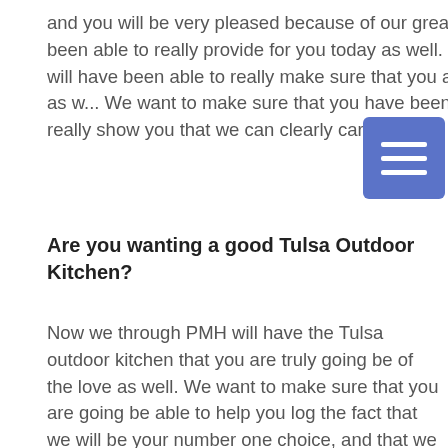and you will be very pleased because of our great results and because of everything that we have been able to really provide for you today as well. This is what you have always wanted, and that we will have been able to really make sure that you are never going be worried about anything else today as w... We want to make sure that you have been able to really make sure that you are going really really show you that we can clearly care today.
Are you wanting a good Tulsa Outdoor Kitchen?
Now we through PMH will have the Tulsa outdoor kitchen that you are truly going be of the love as well. We want to make sure that you are going be able to help you log the fact that we will be your number one choice, and that we will build have you see that we can do it right today. We want to make